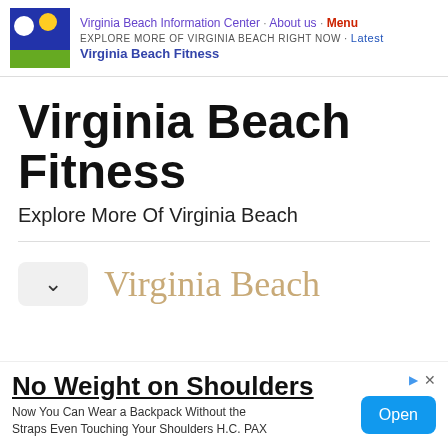Virginia Beach Information Center · About us · Menu
EXPLORE MORE OF VIRGINIA BEACH RIGHT NOW · Latest
Virginia Beach Fitness
Virginia Beach Fitness
Explore More Of Virginia Beach
Virginia Beach
No Weight on Shoulders
Now You Can Wear a Backpack Without the Straps Even Touching Your Shoulders H.C. PAX